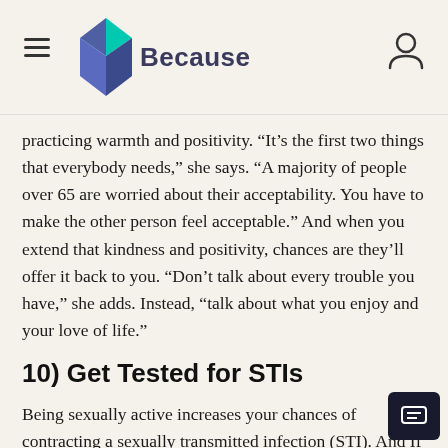Because
practicing warmth and positivity. “It’s the first two things that everybody needs,” she says. “A majority of people over 65 are worried about their acceptability. You have to make the other person feel acceptable.” And when you extend that kindness and positivity, chances are they’ll offer it back to you. “Don’t talk about every trouble you have,” she adds. Instead, “talk about what you enjoy and your love of life.”
10) Get Tested for STIs
Being sexually active increases your chances of contracting a sexually transmitted infection (STI). And If you have incontinence, you’re at an increased risk of STIs. So, knowing your status is critical. If you do test positive for an STI, be sure to let all sexual partners know so they can also get tested and treated. Treatments for most STIs